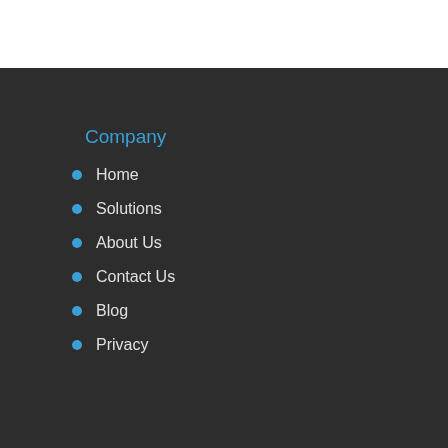Company
Home
Solutions
About Us
Contact Us
Blog
Privacy